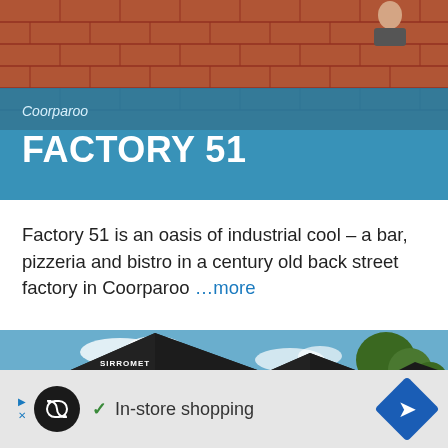[Figure (photo): Brick wall exterior photo of Factory 51 venue with people visible on upper level]
Coorparoo
FACTORY 51
Factory 51 is an oasis of industrial cool – a bar, pizzeria and bistro in a century old back street factory in Coorparoo …more
[Figure (photo): Outdoor photo showing black Sirromet branded market umbrellas on a deck overlooking green countryside and blue sky]
In-store shopping